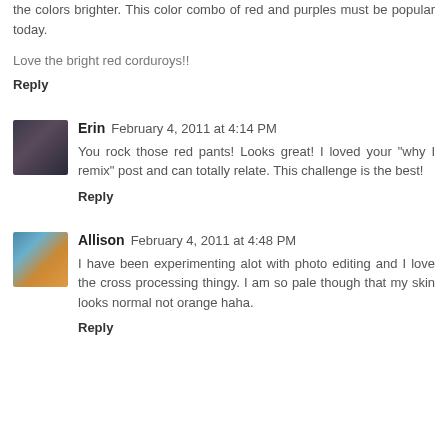the colors brighter. This color combo of red and purples must be popular today.
Love the bright red corduroys!!
Reply
Erin  February 4, 2011 at 4:14 PM
You rock those red pants! Looks great! I loved your "why I remix" post and can totally relate. This challenge is the best!
Reply
Allison  February 4, 2011 at 4:48 PM
I have been experimenting alot with photo editing and I love the cross processing thingy. I am so pale though that my skin looks normal not orange haha.
Reply